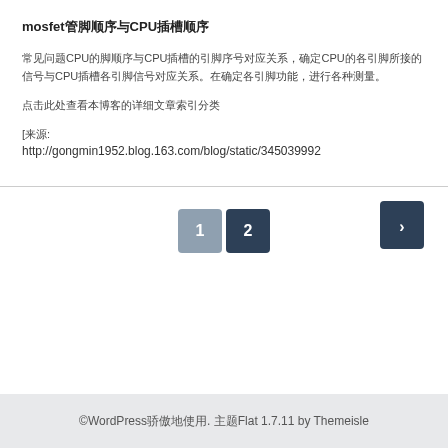mosfet管脚顺序与CPU插槽
常见问题CPU的脚顺序与CPU插槽的引脚序号对应关系，确定CPU的各引脚所接的信号与CPU插槽各引脚信号对应关系。
点击此处查看本博客的详细文章索引
[来源:
http://gongmin1952.blog.163.com/blog/static/345039992
©WordPress骄傲地使用. 主题Flat 1.7.11 by Themeisle